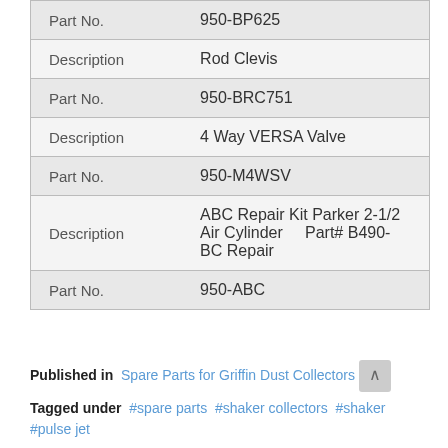| Field | Value |
| --- | --- |
| Part No. | 950-BP625 |
| Description | Rod Clevis |
| Part No. | 950-BRC751 |
| Description | 4 Way VERSA Valve |
| Part No. | 950-M4WSV |
| Description | ABC Repair Kit Parker 2-1/2 Air Cylinder      Part# B490-BC Repair |
| Part No. | 950-ABC |
Published in  Spare Parts for Griffin Dust Collectors
Tagged under  #spare parts  #shaker collectors  #shaker  #pulse jet